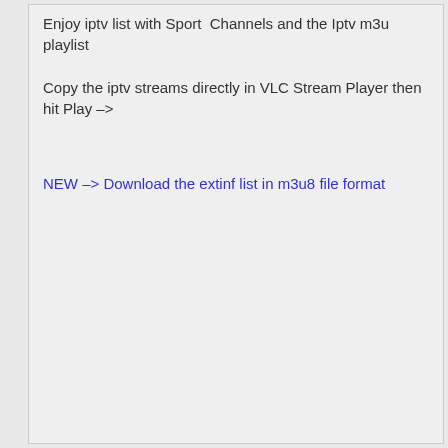Enjoy iptv list with Sport  Channels and the Iptv m3u playlist
Copy the iptv streams directly in VLC Stream Player then hit Play –>
NEW –> Download the extinf list in m3u8 file format